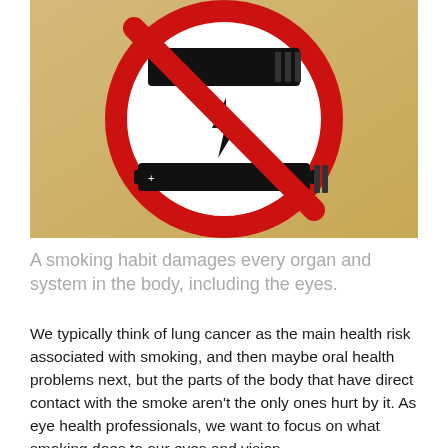[Figure (photo): A no-smoking/no-vaping sign: a red prohibition circle with diagonal bar over a black e-cigarette/vaping device symbol (battery, lightning bolt, and cartridge), against a beige/gold background.]
A smoking habit damages every organ and system in the body, including the eyes.
We typically think of lung cancer as the main health risk associated with smoking, and then maybe oral health problems next, but the parts of the body that have direct contact with the smoke aren't the only ones hurt by it. As eye health professionals, we want to focus on what smoking does to our eyes and vision.